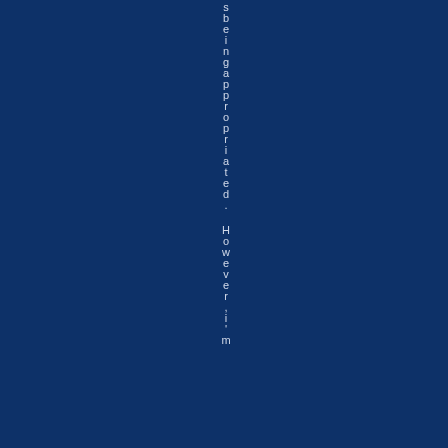s being appropriated. However, i' m